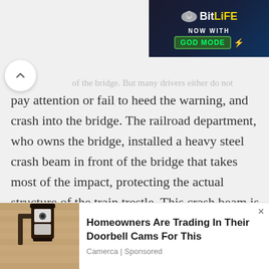[Figure (screenshot): BitLife game advertisement banner with dark blue background, BitLife logo, 'NOW WITH GOD MODE' text]
...of the bridge. But many drivers either do not pay attention or fail to heed the warning, and crash into the bridge. The railroad department, who owns the bridge, installed a heavy steel crash beam in front of the bridge that takes most of the impact, protecting the actual structure of the train trestle. This crash beam is hit so often that it had to be replaced at least once.
As far as both parties are concerned, the city of
[Figure (screenshot): Bottom advertisement overlay: photo of wall-mounted security camera lamp, with text 'Homeowners Are Trading In Their Doorbell Cams For This' by Camerca | Sponsored]